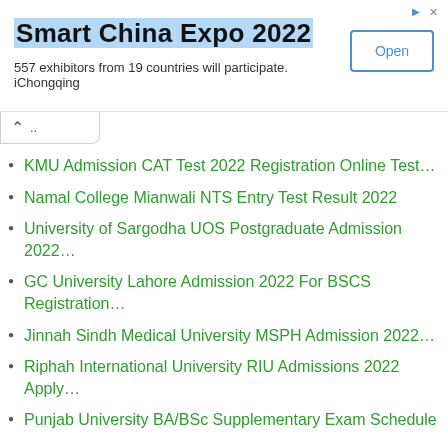[Figure (screenshot): Advertisement banner for Smart China Expo 2022 with title, description text '557 exhibitors from 19 countries will participate. iChongqing', and an Open button]
KMU Admission CAT Test 2022 Registration Online Test…
Namal College Mianwali NTS Entry Test Result 2022
University of Sargodha UOS Postgraduate Admission 2022…
GC University Lahore Admission 2022 For BSCS Registration…
Jinnah Sindh Medical University MSPH Admission 2022…
Riphah International University RIU Admissions 2022 Apply…
Punjab University BA/BSc Supplementary Exam Schedule